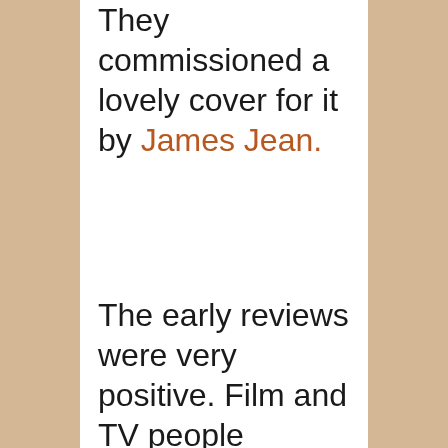They commissioned a lovely cover for it by James Jean.
The early reviews were very positive. Film and TV people started contacting my agent about it. And now a decade later